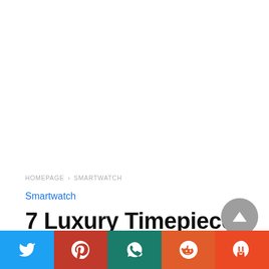HOMEPAGE › SMARTWATCH
Smartwatch
7 Luxury Timepieces That Will Never Go Out Of Style